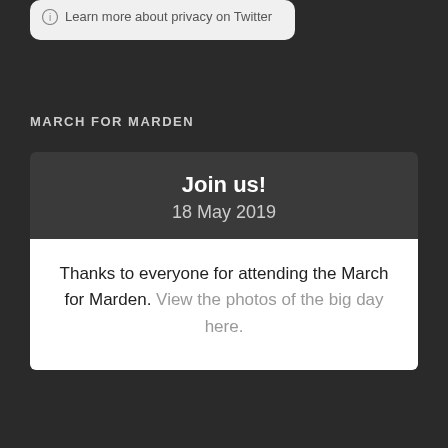Learn more about privacy on Twitter
MARCH FOR MARDEN
Join us!
18 May 2019
Thanks to everyone for attending the March for Marden. View the photos of the big day here.